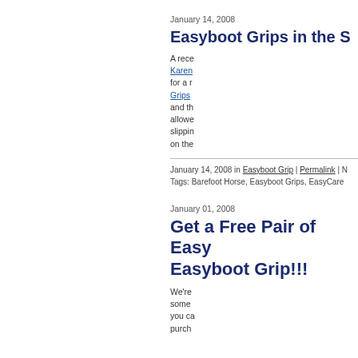January 14, 2008
Easyboot Grips in the S
A rece Karen for a r Grips and th allowe slippin on the
January 14, 2008 in Easyboot Grip | Permalink | 
Tags: Barefoot Horse, Easyboot Grips, EasyCare
January 01, 2008
Get a Free Pair of Easy Easyboot Grip!!!
We're some you ca purch